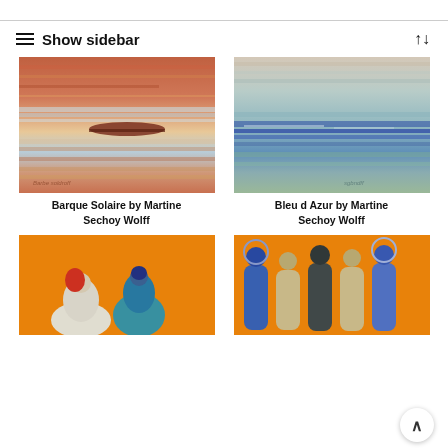≡ Show sidebar
[Figure (photo): Abstract painting 'Barque Solaire' by Martine Sechoy Wolff – warm orange-red and white horizontal strokes with a dark boat shape in the center]
Barque Solaire by Martine Sechoy Wolff
[Figure (photo): Abstract painting 'Bleu d Azur' by Martine Sechoy Wolff – cool blue, teal and beige horizontal strokes suggesting sea and sky]
Bleu d Azur by Martine Sechoy Wolff
[Figure (photo): Painting with orange background showing two rounded human figures, one with red hair – by Martine Sechoy Wolff]
[Figure (photo): Painting with orange background showing five stylized standing human figures in blue and beige – by Martine Sechoy Wolff]